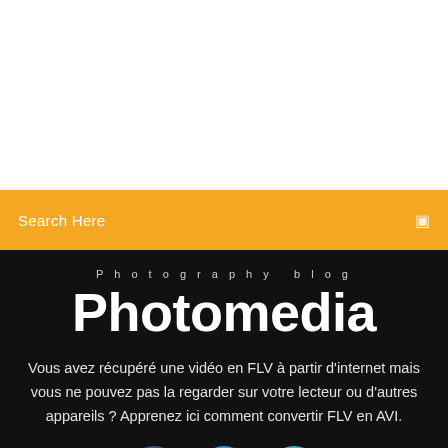[Figure (screenshot): White blank area at top of page]
Search Here
Photography blog
Photomedia
Vous avez récupéré une vidéo en FLV à partir d'internet mais vous ne pouvez pas la regarder sur votre lecteur ou d'autres appareils ? Apprenez ici comment convertir FLV en AVI.
[Figure (illustration): Three circular social media icons: Facebook (blue), Twitter (light blue), Instagram (teal/cyan), partially visible at bottom]